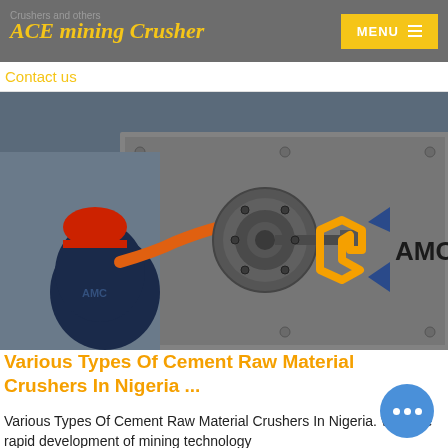ACE mining Crusher
Crushers and others
[Figure (screenshot): Website screenshot showing ACE mining Crusher header with MENU button and a worker in red hard hat working on industrial mining equipment. AMC logo visible in lower right of image.]
Contact us
Various Types Of Cement Raw Material Crushers In Nigeria ...
Various Types Of Cement Raw Material Crushers In Nigeria. With the rapid development of mining technology